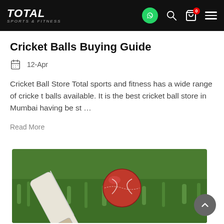TOTAL SPORTS & FITNESS
Cricket Balls Buying Guide
12-Apr
Cricket Ball Store Total sports and fitness has a wide range of cricket balls available. It is the best cricket ball store in Mumbai having best ...
Read More
[Figure (photo): A red cricket ball and white cricket bat resting on green grass]